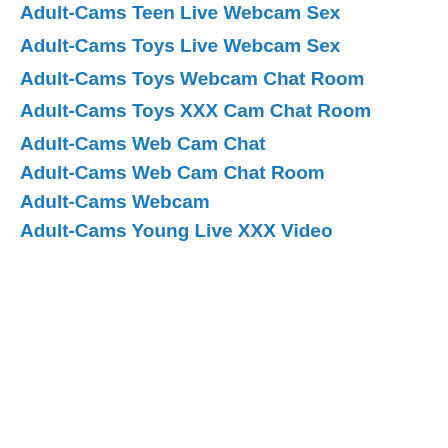Adult-Cams Teen Live Webcam Sex
Adult-Cams Toys Live Webcam Sex
Adult-Cams Toys Webcam Chat Room
Adult-Cams Toys XXX Cam Chat Room
Adult-Cams Web Cam Chat
Adult-Cams Web Cam Chat Room
Adult-Cams Webcam
Adult-Cams Young Live XXX Video